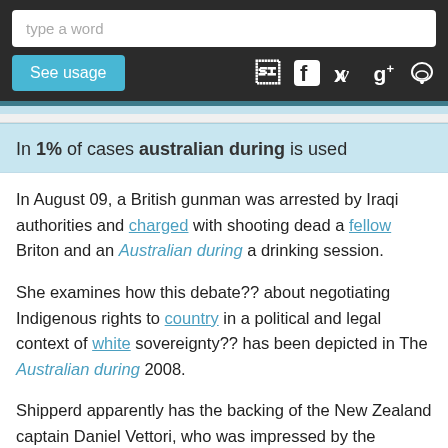type a word
See usage
In 1% of cases australian during is used
In August 09, a British gunman was arrested by Iraqi authorities and charged with shooting dead a fellow Briton and an Australian during a drinking session.
She examines how this debate?? about negotiating Indigenous rights to country in a political and legal context of white sovereignty?? has been depicted in The Australian during 2008.
Shipperd apparently has the backing of the New Zealand captain Daniel Vettori, who was impressed by the Australian